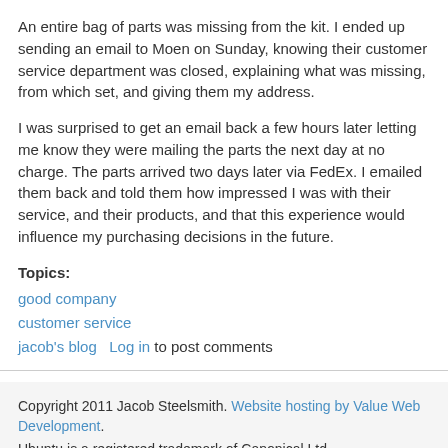An entire bag of parts was missing from the kit. I ended up sending an email to Moen on Sunday, knowing their customer service department was closed, explaining what was missing, from which set, and giving them my address.
I was surprised to get an email back a few hours later letting me know they were mailing the parts the next day at no charge. The parts arrived two days later via FedEx. I emailed them back and told them how impressed I was with their service, and their products, and that this experience would influence my purchasing decisions in the future.
Topics:
good company
customer service
jacob's blog    Log in to post comments
Copyright 2011 Jacob Steelsmith. Website hosting by Value Web Development.
Ubuntu is a registered trademark of Canonical Ltd.